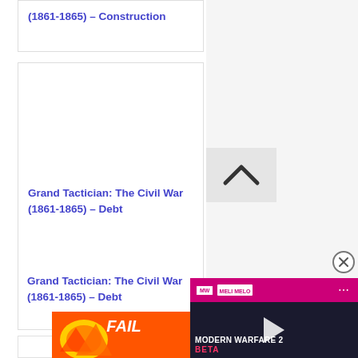Grand Tactician: The Civil War (1861-1865) – Construction
[Figure (other): Empty white card area with light border]
Grand Tactician: The Civil War (1861-1865) – Debt
[Figure (photo): Fail-themed advertisement banner with cartoon character and fire elements]
[Figure (screenshot): Modern Warfare 2 Beta video player overlay with MW logo in pink header, play button, and dark background game scene]
[Figure (other): Scroll-to-top chevron button in light gray box]
[Figure (other): Close (X) circular button]